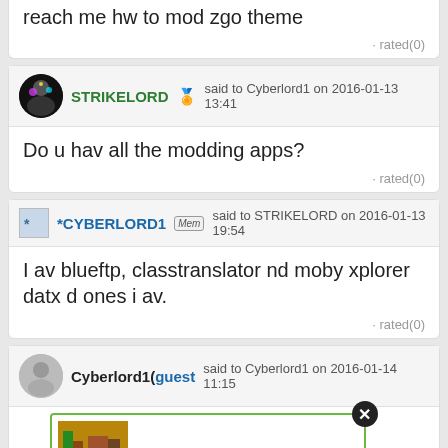reach me hw to mod zgo theme
· rated(0)
STRIKELORD 🏅 said to Cyberlord1 on 2016-01-13 13:41
Do u hav all the modding apps?
· rated(0)
*CYBERLORD1 [Mem] said to STRIKELORD on 2016-01-13 19:54
I av blueftp, classtranslator nd moby xplorer datx d ones i av.
· rated(0)
Cyberlord1(guest said to Cyberlord1 on 2016-01-14 11:15
...
Disneyland 1972 Love the
ated(0)